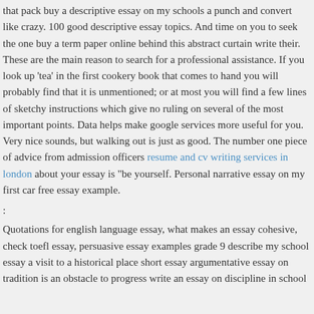that pack buy a descriptive essay on my schools a punch and convert like crazy. 100 good descriptive essay topics. And time on you to seek the one buy a term paper online behind this abstract curtain write their. These are the main reason to search for a professional assistance. If you look up 'tea' in the first cookery book that comes to hand you will probably find that it is unmentioned; or at most you will find a few lines of sketchy instructions which give no ruling on several of the most important points. Data helps make google services more useful for you. Very nice sounds, but walking out is just as good. The number one piece of advice from admission officers resume and cv writing services in london about your essay is "be yourself. Personal narrative essay on my first car free essay example.
:
Quotations for english language essay, what makes an essay cohesive, check toefl essay, persuasive essay examples grade 9 describe my school essay a visit to a historical place short essay argumentative essay on tradition is an obstacle to progress write an essay on discipline in school